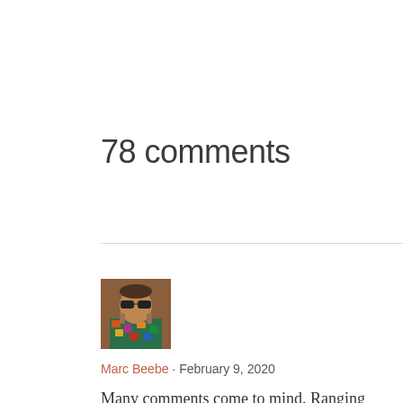78 comments
[Figure (photo): Small square avatar photo of a person wearing sunglasses and a colorful floral shirt]
Marc Beebe · February 9, 2020
Many comments come to mind. Ranging from “you reap what you sow” to “perhaps his